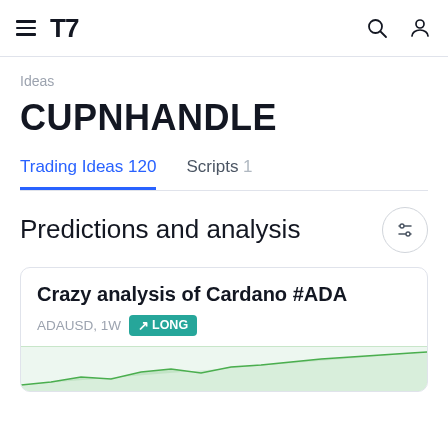TradingView navigation bar with hamburger menu, TV logo, search icon, and user icon
Ideas
CUPNHANDLE
Trading Ideas 120   Scripts 1
Predictions and analysis
Crazy analysis of Cardano #ADA
ADAUSD, 1W  LONG
[Figure (screenshot): Partial chart preview at the bottom of a card showing a green/financial chart]